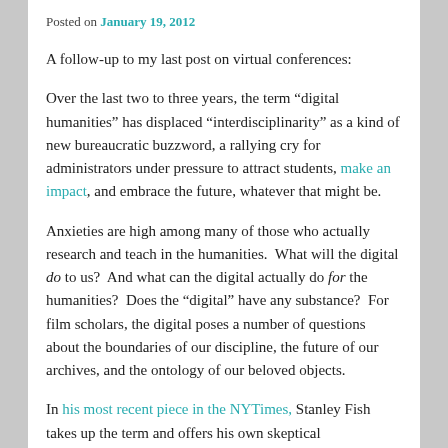Posted on January 19, 2012
A follow-up to my last post on virtual conferences:
Over the last two to three years, the term “digital humanities” has displaced “interdisciplinarity” as a kind of new bureaucratic buzzword, a rallying cry for administrators under pressure to attract students, make an impact, and embrace the future, whatever that might be.
Anxieties are high among many of those who actually research and teach in the humanities. What will the digital do to us? And what can the digital actually do for the humanities? Does the “digital” have any substance? For film scholars, the digital poses a number of questions about the boundaries of our discipline, the future of our archives, and the ontology of our beloved objects.
In his most recent piece in the NYTimes, Stanley Fish takes up the term and offers his own skeptical